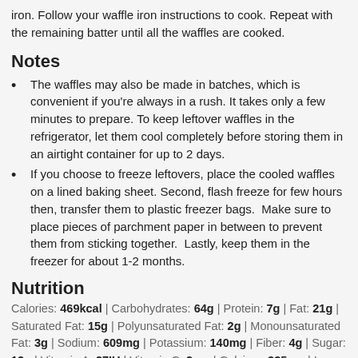iron. Follow your waffle iron instructions to cook. Repeat with the remaining batter until all the waffles are cooked.
Notes
The waffles may also be made in batches, which is convenient if you're always in a rush. It takes only a few minutes to prepare. To keep leftover waffles in the refrigerator, let them cool completely before storing them in an airtight container for up to 2 days.
If you choose to freeze leftovers, place the cooled waffles on a lined baking sheet. Second, flash freeze for few hours then, transfer them to plastic freezer bags.  Make sure to place pieces of parchment paper in between to prevent them from sticking together.  Lastly, keep them in the freezer for about 1-2 months.
Nutrition
Calories: 469kcal | Carbohydrates: 64g | Protein: 7g | Fat: 21g | Saturated Fat: 15g | Polyunsaturated Fat: 2g | Monounsaturated Fat: 3g | Sodium: 609mg | Potassium: 140mg | Fiber: 4g | Sugar: 13g | Vitamin A: 27IU | Vitamin C: 2mg | Calcium: 335mg | Iron: 3mg